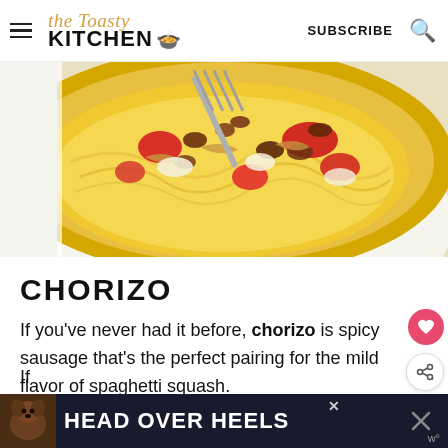the Toasty Kitchen | SUBSCRIBE
[Figure (photo): Close-up photo of a spaghetti squash half filled with chorizo, red peppers, caramelized onions, and melted cheese, with a fork digging in.]
CHORIZO
If you've never had it before, chorizo is spicy sausage that's the perfect pairing for the mild flavor of spaghetti squash.
[Figure (infographic): Advertisement banner with dog image and text HEAD OVER HEELS on dark background.]